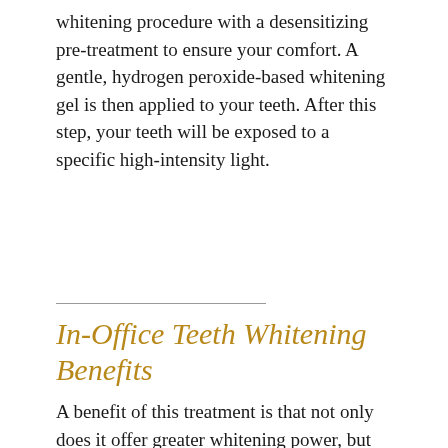whitening procedure with a desensitizing pre-treatment to ensure your comfort. A gentle, hydrogen peroxide-based whitening gel is then applied to your teeth. After this step, your teeth will be exposed to a specific high-intensity light.
In-Office Teeth Whitening Benefits
A benefit of this treatment is that not only does it offer greater whitening power, but also less tooth sensitivity.